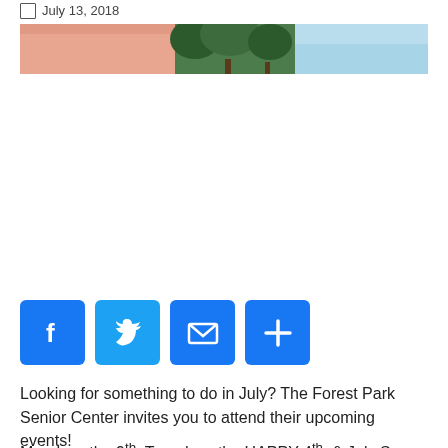July 13, 2018
[Figure (photo): A banner image showing trees and sky in a park setting]
[Figure (infographic): Social sharing buttons: Facebook, Twitter, Email, Plus]
Looking for something to do in July? The Forest Park Senior Center invites you to attend their upcoming events!
Mondays the 9th, Tuesdays the HAPPY 4th, (cut off)